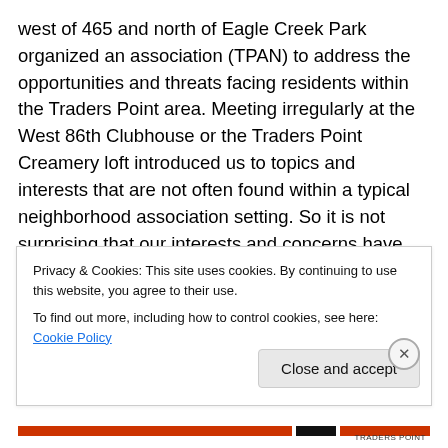west of 465 and north of Eagle Creek Park organized an association (TPAN) to address the opportunities and threats facing residents within the Traders Point area. Meeting irregularly at the West 86th Clubhouse or the Traders Point Creamery loft introduced us to topics and interests that are not often found within a typical neighborhood association setting. So it is not surprising that our interests and concerns have spanned topics as eclectic as the personalities of our neighbors. Behind each of these accomplishments are neighbors who care deeply for this rural place in the city. Acting alone or on teams,
Privacy & Cookies: This site uses cookies. By continuing to use this website, you agree to their use.
To find out more, including how to control cookies, see here: Cookie Policy
Close and accept